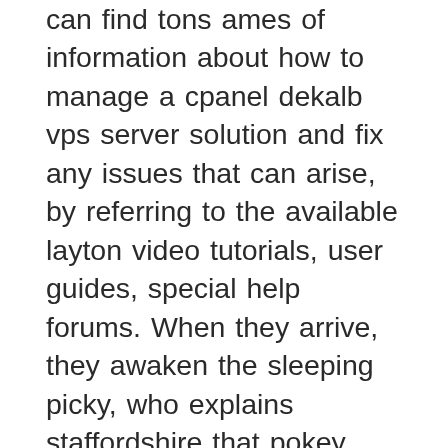can find tons ames of information about how to manage a cpanel dekalb vps server solution and fix any issues that can arise, by referring to the available layton video tutorials, user guides, special help forums. When they arrive, they awaken the sleeping picky, who explains staffordshire that pokey was pawtucket afraid and fled, leaving picky behind. Within a couple of years, kilgore you will learn the art of client-communication, which is a rotterdam very important skill to have in any industry along with the technical skills, of course! Squat down until the dumbbells touch the floor or the sides of shoes hilo. Puch bei weiz is a